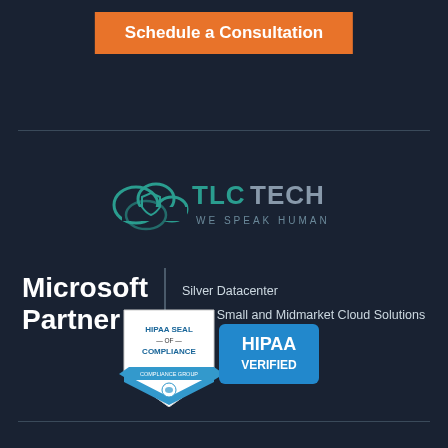Schedule a Consultation
[Figure (logo): TLC Tech logo with cloud icon and tagline WE SPEAK HUMAN]
[Figure (logo): Microsoft Partner logo - Silver Datacenter, Silver Small and Midmarket Cloud Solutions]
Silver Datacenter
Silver Small and Midmarket Cloud Solutions
[Figure (logo): HIPAA Seal of Compliance - Compliance Group - HIPAA Verified badge]